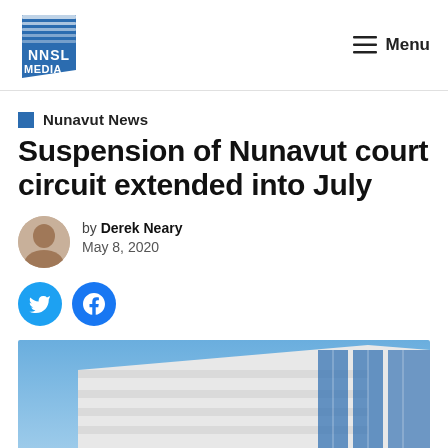NNSL Media — Menu
Nunavut News
Suspension of Nunavut court circuit extended into July
by Derek Neary
May 8, 2020
[Figure (photo): Exterior photo of a government/court building against a blue sky, viewed from below at an angle, showing a modern white and grey facade with blue glass windows.]